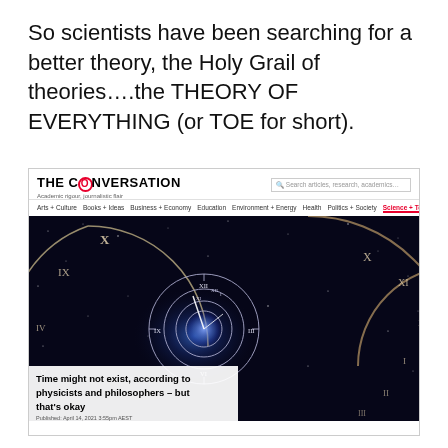So scientists have been searching for a better theory, the Holy Grail of theories….the THEORY OF EVERYTHING (or TOE for short).
[Figure (screenshot): Screenshot of The Conversation website showing the article 'Time might not exist, according to physicists and philosophers – but that's okay', Published April 14, 2021 3:55pm AEST, with a hero image of spiraling clocks against a dark starry universe background. Navigation includes: Arts+Culture, Books+Ideas, Business+Economy, Education, Environment+Energy, Health, Politics+Society, Science+Technology (active).]